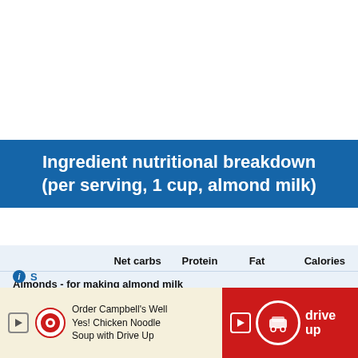Ingredient nutritional breakdown (per serving, 1 cup, almond milk)
|  | Net carbs | Protein | Fat | Calories |
| --- | --- | --- | --- | --- |
| Almonds - for making almond milk |  |  |  |  |
|  | 1 g | 1.2 g | 2.9 g | 34 kcal |
| Water, still |  |  |  |  |
|  | 0 g | 0 g | 0 g | 0 kcal |
[Figure (screenshot): Target advertisement banner: Order Campbell's Well Yes! Chicken Noodle Soup with Drive Up]